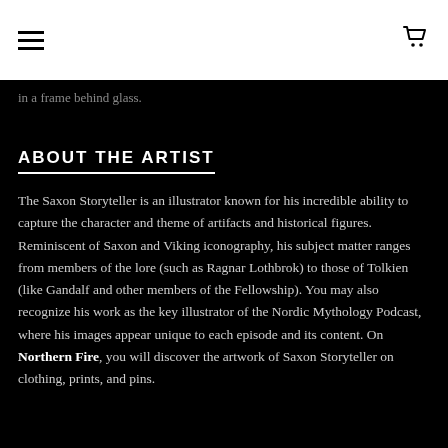[hamburger menu icon] [cart icon]
in a frame behind glass.
ABOUT THE ARTIST
The Saxon Storyteller is an illustrator known for his incredible ability to capture the character and theme of artifacts and historical figures. Reminiscent of Saxon and Viking iconography, his subject matter ranges from members of the lore (such as Ragnar Lothbrok) to those of Tolkien (like Gandalf and other members of the Fellowship). You may also recognize his work as the key illustrator of the Nordic Mythology Podcast, where his images appear unique to each episode and its content. On Northern Fire, you will discover the artwork of Saxon Storyteller on clothing, prints, and pins.